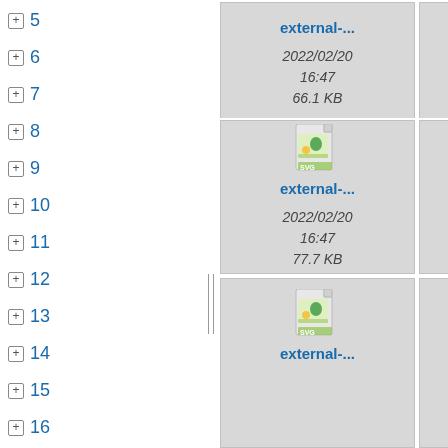+ 5
+ 6
+ 7
+ 8
+ 9
+ 10
+ 11
+ 12
+ 13
+ 14
+ 15
+ 16
+ 17
+ 18
- 19
+ 191
+ 192
+ 20
+ 21
+ 22
[Figure (screenshot): File browser grid showing SVG file thumbnails with filenames 'external-...', dates '2022/02/20 16:47', and sizes 66.1 KB, 64.4 KB, 77.7 KB, 50.3 KB, plus two more partially visible files labeled 'external-...' and 'fundame...']